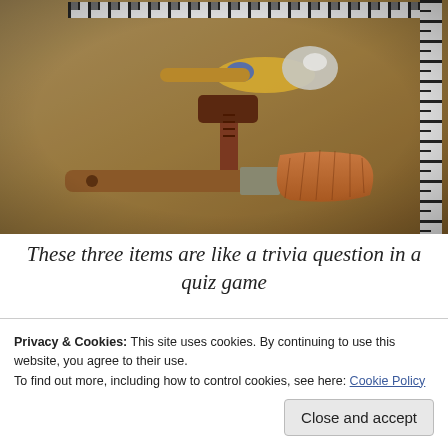[Figure (photo): Forensic evidence photo showing three items on a tan/brown surface with measurement rulers along the top and right edges: a decorative spoon with blue and white detail on handle, a hammer-like tool with reddish-brown wooden handle, and a large paintbrush with wooden handle and reddish bristles.]
These three items are like a trivia question in a quiz game
Privacy & Cookies: This site uses cookies. By continuing to use this website, you agree to their use.
To find out more, including how to control cookies, see here: Cookie Policy
Close and accept